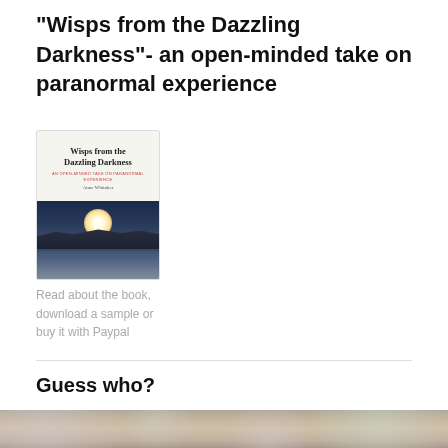“Wisps from the Dazzling Darkness”- an open-minded take on paranormal experience
[Figure (photo): Book cover of 'Wisps from the Dazzling Darkness' by Anne Whitaker, showing title text above a landscape photo of a dramatic sunrise or sunset over dark hills and water.]
Read about the book, download a sample or buy it with Paypal
Guess who?
[Figure (photo): Close-up photo of a person with grey/brown hair, wearing sunglasses, surrounded by blurred flowers in the background.]